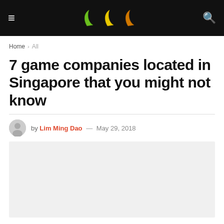≡  [banana logo]  🔍
Home > All
7 game companies located in Singapore that you might not know
by Lim Ming Dao — May 29, 2018
[Figure (photo): Featured article image placeholder, light gray background]